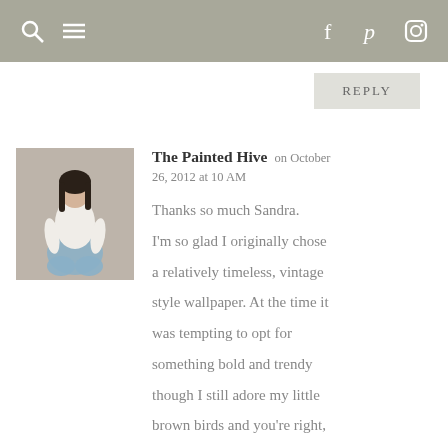search menu facebook pinterest instagram
REPLY
[Figure (photo): Avatar photo of a woman sitting cross-legged in a white shirt against a textured background]
The Painted Hive on October 26, 2012 at 10 AM
Thanks so much Sandra. I'm so glad I originally chose a relatively timeless, vintage style wallpaper. At the time it was tempting to opt for something bold and trendy though I still adore my little brown birds and you're right, perhaps it was made for barley twist :-)